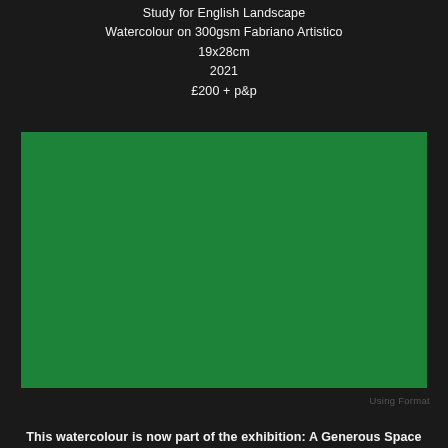Study for English Landscape
Watercolour on 300gsm Fabriano Artistico
19x28cm
2021
£200 + p&p
[Figure (photo): A solid green rectangle representing a watercolour artwork placeholder, displayed against a dark background.]
Using Format
This watercolour is now part of the exhibition: A Generous Space